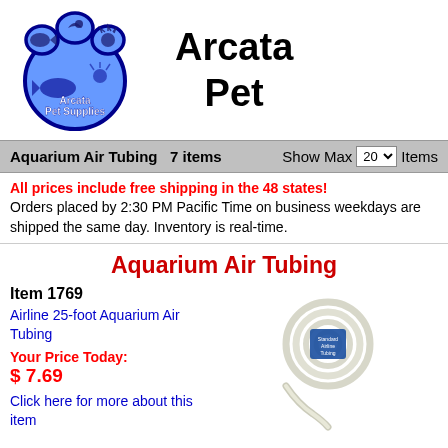[Figure (logo): Arcata Pet Supplies paw print logo with animal silhouettes (fish, bird, cat, dog)]
Arcata Pet
Aquarium Air Tubing  7 items   Show Max 20 Items
All prices include free shipping in the 48 states! Orders placed by 2:30 PM Pacific Time on business weekdays are shipped the same day. Inventory is real-time.
Aquarium Air Tubing
Item 1769
Airline 25-foot Aquarium Air Tubing
Your Price Today:
$ 7.69
Click here for more about this item
[Figure (photo): Photo of coiled clear aquarium airline tubing with a label]